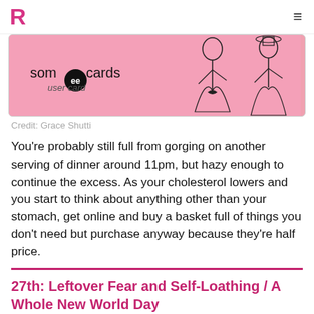R ≡
[Figure (illustration): someecards user card with pink background and vintage black-and-white illustration of two women in Victorian dress]
Credit: Grace Shutti
You're probably still full from gorging on another serving of dinner around 11pm, but hazy enough to continue the excess. As your cholesterol lowers and you start to think about anything other than your stomach, get online and buy a basket full of things you don't need but purchase anyway because they're half price.
27th: Leftover Fear and Self-Loathing / A Whole New World Day